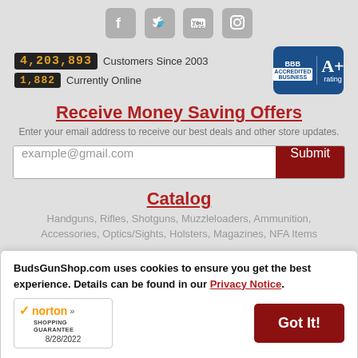[Figure (illustration): Social media icons: Facebook, Twitter, YouTube, Instagram in gray rounded square buttons]
4,203,893 Customers Since 2003
1,882 Currently Online
[Figure (logo): BBB A+ rating badge in blue]
Receive Money Saving Offers
Enter your email address to receive our best deals and other store updates.
example@gmail.com Submit
Catalog
Handguns, Rifles, Shotguns, Muzzleloaders, Ammunition, Accessories, Optics/Sights, Holsters, Magazines, NFA Items
Information
BudsGunShop.com uses cookies to ensure you get the best experience. Details can be found in our Privacy Notice.
[Figure (logo): Norton Shopping Guarantee badge, dated 8/28/2022]
Got It!